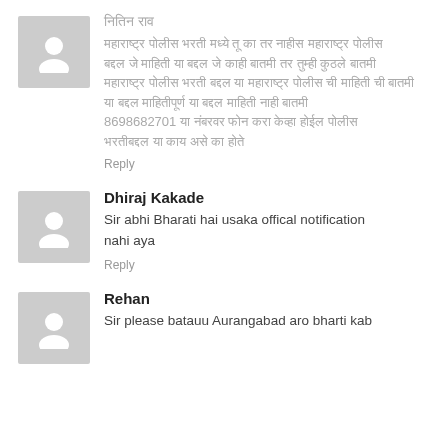[Figure (illustration): User avatar placeholder icon (grey background with white silhouette of a person)]
[Hindi text - username in Devanagari script]
[Hindi comment body in Devanagari script with phone number 8698682701]
Reply
[Figure (illustration): User avatar placeholder icon (grey background with white silhouette of a person)]
Dhiraj Kakade
Sir abhi Bharati hai usaka offical notification nahi aya
Reply
[Figure (illustration): User avatar placeholder icon (grey background with white silhouette of a person)]
Rehan
Sir please batauu Aurangabad aro bharti kab